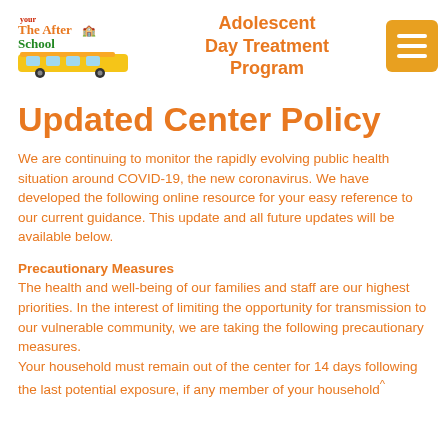[Figure (logo): The After School Construction Land logo - colorful text logo with school bus imagery]
Adolescent Day Treatment Program
Updated Center Policy
We are continuing to monitor the rapidly evolving public health situation around COVID-19, the new coronavirus. We have developed the following online resource for your easy reference to our current guidance. This update and all future updates will be available below.
Precautionary Measures
The health and well-being of our families and staff are our highest priorities. In the interest of limiting the opportunity for transmission to our vulnerable community, we are taking the following precautionary measures.
Your household must remain out of the center for 14 days following the last potential exposure, if any member of your household^